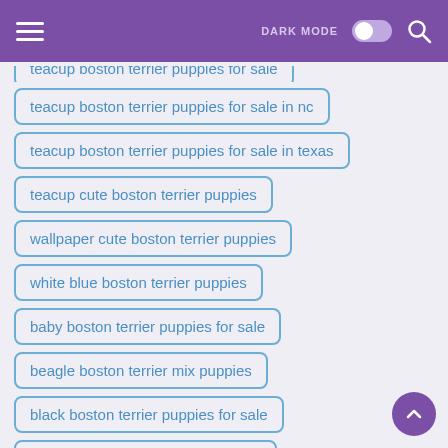DARK MODE [toggle] [search icon]
teacup boston terrier puppies for sale in nc
teacup boston terrier puppies for sale in texas
teacup cute boston terrier puppies
wallpaper cute boston terrier puppies
white blue boston terrier puppies
baby boston terrier puppies for sale
beagle boston terrier mix puppies
black boston terrier puppies for sale
blue boston terrier puppies for sale
blue boston terrier puppies for sale colorado